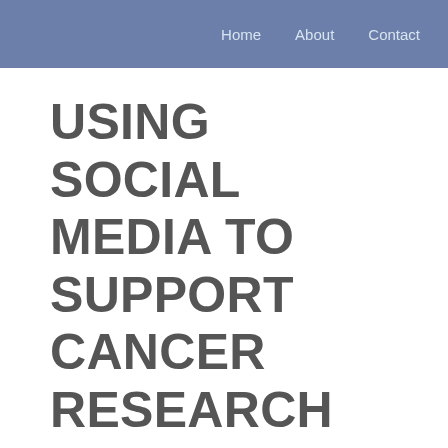Home   About   Contact
USING SOCIAL MEDIA TO SUPPORT CANCER RESEARCH
21 February 2008  Dave Fleet  8 Comments  miscellaneous, social media
In November 2007 I launched an (ongoing) experiment to develop a “best-practice social media 101 training program” using online tools.